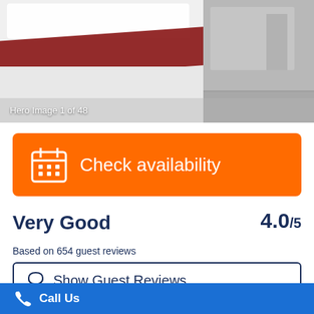[Figure (photo): Hotel room hero image showing a bed with a dark red runner, white bedding, and a room interior on the right side. Label reads 'Hero Image 1 of 48'.]
Hero Image 1 of 48
[Figure (other): Orange 'Check availability' button with calendar icon]
Very Good
4.0 /5
Based on 654 guest reviews
[Figure (other): Show Guest Reviews button with chat icon]
140 rooms in hotel
[Figure (other): Blue Call Us footer bar with phone icon]